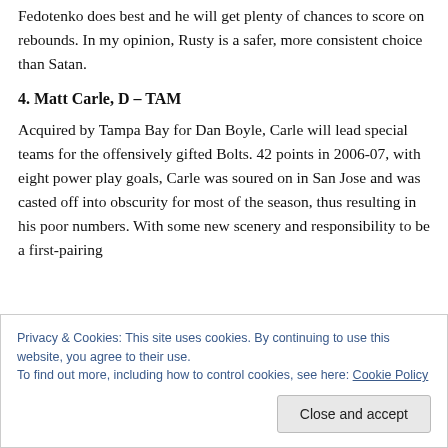Fedotenko does best and he will get plenty of chances to score on rebounds. In my opinion, Rusty is a safer, more consistent choice than Satan.
4. Matt Carle, D – TAM
Acquired by Tampa Bay for Dan Boyle, Carle will lead special teams for the offensively gifted Bolts. 42 points in 2006-07, with eight power play goals, Carle was soured on in San Jose and was casted off into obscurity for most of the season, thus resulting in his poor numbers. With some new scenery and responsibility to be a first-pairing
Privacy & Cookies: This site uses cookies. By continuing to use this website, you agree to their use.
To find out more, including how to control cookies, see here: Cookie Policy